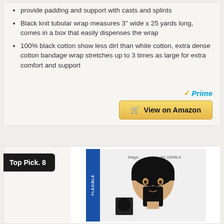provide padding and support with casts and splints
Black knit tubular wrap measures 3" wide x 25 yards long, comes in a box that easily dispenses the wrap
100% black cotton show less dirt than white cotton, extra dense cotton bandage wrap stretches up to 3 times as large for extra comfort and support
[Figure (logo): Amazon Prime logo with checkmark and 'View on Amazon' button]
Top Pick. 8
[Figure (photo): Product image: Magic Flexible Durag No. 1005BLA, showing a person wearing a black durag]